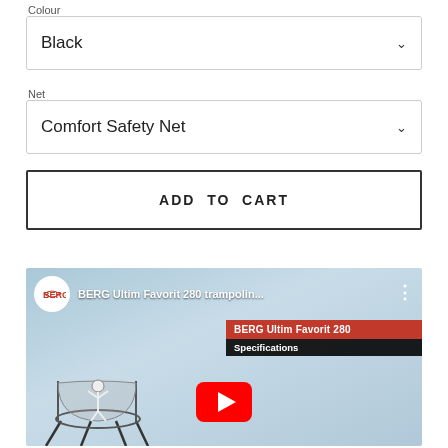Colour
Black
Net
Comfort Safety Net
ADD TO CART
[Figure (screenshot): YouTube video thumbnail for BERG Ultim Favorit 280 trampoline video, showing BERG logo, video title, a trampoline with a jumping person, and a YouTube play button overlay. The thumbnail includes a red/dark banner reading 'BERG Ultim Favorit 280 Specifications'.]